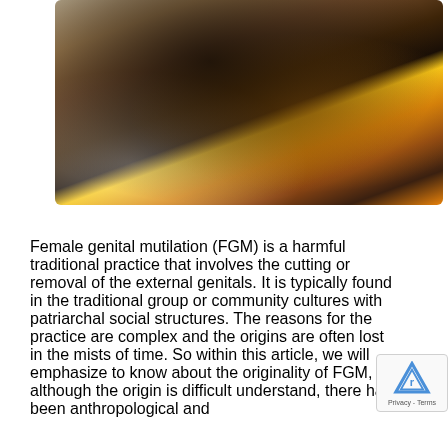[Figure (photo): A child lying down, appearing distressed, with a hand holding their face. The child is wearing a colorful patterned garment with black, yellow, and red colors.]
Female genital mutilation (FGM) is a harmful traditional practice that involves the cutting or removal of the external genitals. It is typically found in the traditional group or community cultures with patriarchal social structures. The reasons for the practice are complex and the origins are often lost in the mists of time. So within this article, we will emphasize to know about the originality of FGM, although the origin is difficult understand, there has been anthropological and